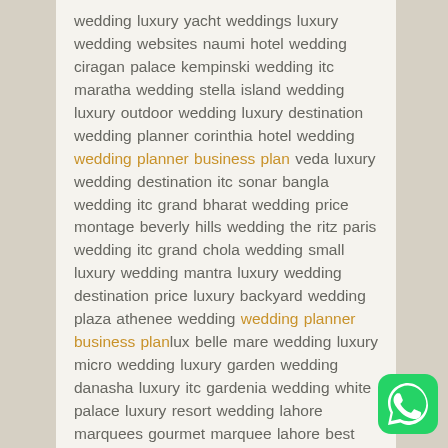wedding luxury yacht weddings luxury wedding websites naumi hotel wedding ciragan palace kempinski wedding itc maratha wedding stella island wedding luxury outdoor wedding luxury destination wedding planner corinthia hotel wedding wedding planner business plan veda luxury wedding destination itc sonar bangla wedding itc grand bharat wedding price montage beverly hills wedding the ritz paris wedding itc grand chola wedding small luxury wedding mantra luxury wedding destination price luxury backyard wedding plaza athenee wedding wedding planner business planlux belle mare wedding luxury micro wedding luxury garden wedding danasha luxury itc gardenia wedding white palace luxury resort wedding lahore marquees gourmet marquee lahore best marquee in lahore ritz marquee lahore wedding planner business plan
[Figure (logo): WhatsApp green rounded square icon with white phone/chat symbol]